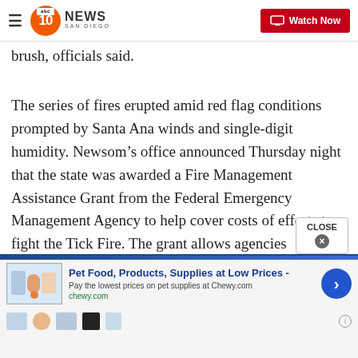10News San Diego | ABC 10 News San Diego - Watch Now
brush, officials said.
The series of fires erupted amid red flag conditions prompted by Santa Ana winds and single-digit humidity. Newsom’s office announced Thursday night that the state was awarded a Fire Management Assistance Grant from the Federal Emergency Management Agency to help cover costs of efforts to fight the Tick Fire. The grant allows agencies responding to the fire to apply for 75% reimbursement of eligible firefighting costs.
[Figure (screenshot): Advertisement banner: Pet Food, Products, Supplies at Low Prices - Chewy.com with arrow button and product icons]